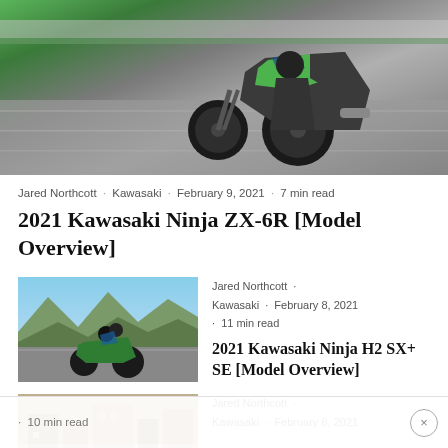[Figure (photo): Green Kawasaki Ninja ZX-6R sportbike on a racetrack, action shot from rear-right, motion blur on background]
Jared Northcott · Kawasaki · February 9, 2021 · 7 min read
2021 Kawasaki Ninja ZX-6R [Model Overview]
[Figure (photo): Two riders on a green Kawasaki Ninja H2 SX+ SE sport touring motorcycle riding through mountain scenery]
Jared Northcott · Kawasaki · February 8, 2021 · 11 min read
2021 Kawasaki Ninja H2 SX+ SE [Model Overview]
[Figure (photo): Partially visible motorcycle image at the bottom of the page, cut off]
Jared Northcott · Kawasaki · February 8, 2021 · 10 min read